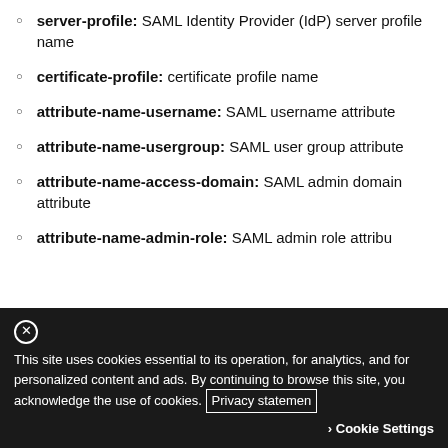server-profile: SAML Identity Provider (IdP) server profile name
certificate-profile: certificate profile name
attribute-name-username: SAML username attribute
attribute-name-usergroup: SAML user group attribute
attribute-name-access-domain: SAML admin domain attribute
attribute-name-admin-role: SAML admin role attribute
curl -X GET "https://<firewall>/api/?key=<apikey>&type=config&action=set&xpath=/config/shared/authentication-profile/entry[@name='<authentica
This site uses cookies essential to its operation, for analytics, and for personalized content and ads. By continuing to browse this site, you acknowledge the use of cookies. Privacy statement
Cookie Settings